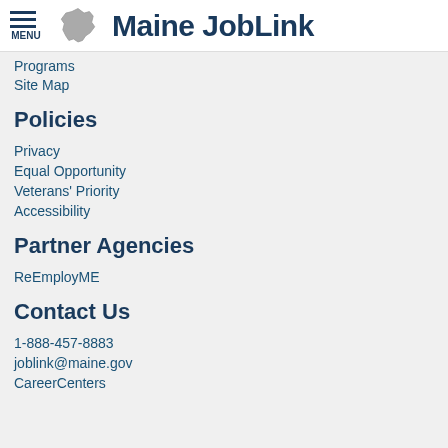Maine JobLink
Programs
Site Map
Policies
Privacy
Equal Opportunity
Veterans' Priority
Accessibility
Partner Agencies
ReEmployME
Contact Us
1-888-457-8883
joblink@maine.gov
CareerCenters